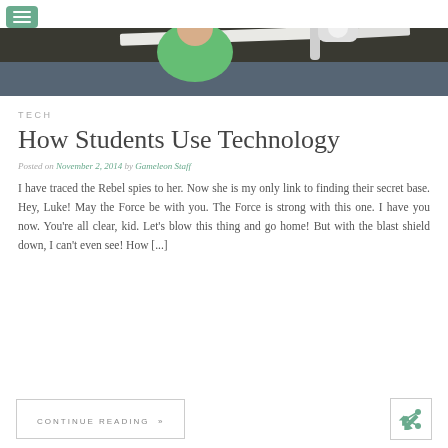[Figure (photo): A student wearing a green shirt sitting at a white desk in a classroom, with modern chair visible]
TECH
How Students Use Technology
Posted on November 2, 2014 by Gameleon Staff
I have traced the Rebel spies to her. Now she is my only link to finding their secret base. Hey, Luke! May the Force be with you. The Force is strong with this one. I have you now. You’re all clear, kid. Let’s blow this thing and go home! But with the blast shield down, I can’t even see! How […]
CONTINUE READING »